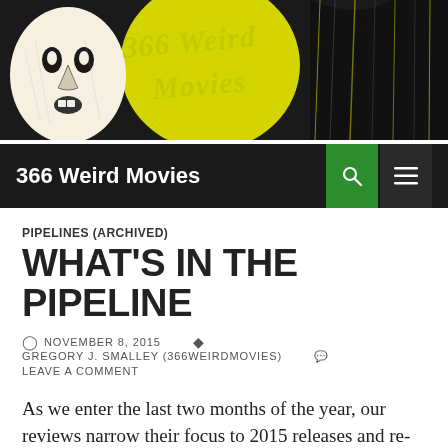[Figure (illustration): 366 Weird Movies website banner with stylized hand-drawn illustration in black, white, and yellow. Features a surreal face/figure on the left and abstract architectural/organic shapes on the right. Large decorative text reads '366 Weird Movies' in a stylized hand-lettered font.]
366 Weird Movies
PIPELINES (ARCHIVED)
WHAT'S IN THE PIPELINE
NOVEMBER 8, 2015  GREGORY J. SMALLEY (366WEIRDMOVIES)  LEAVE A COMMENT
As we enter the last two months of the year, our reviews narrow their focus to 2015 releases and re-releases. Therefore, next week you can look forward to Giles Edwards take on the schizophrenic teen in White Rabbit and G. Smalley's report on the deranged schoolmarm Miss Meadows. Bonus coverage: the